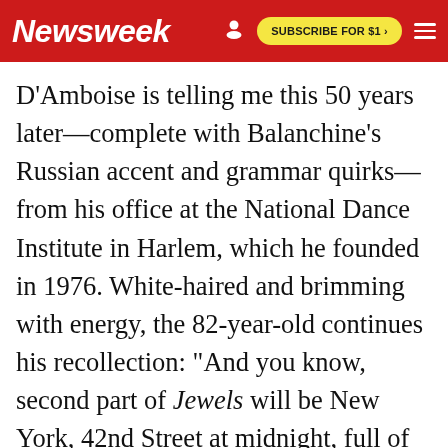Newsweek | SUBSCRIBE FOR $1 >
D'Amboise is telling me this 50 years later—complete with Balanchine's Russian accent and grammar quirks—from his office at the National Dance Institute in Harlem, which he founded in 1976. White-haired and brimming with energy, the 82-year-old continues his recollection: "And you know, second part of Jewels will be New York, 42nd Street at midnight, full of lights from the city, the blinking lights. And jazz, jazzy." That would be "Rubies," set to music by Igor Stravinsky, Balanchine's fellow émigré and frequent